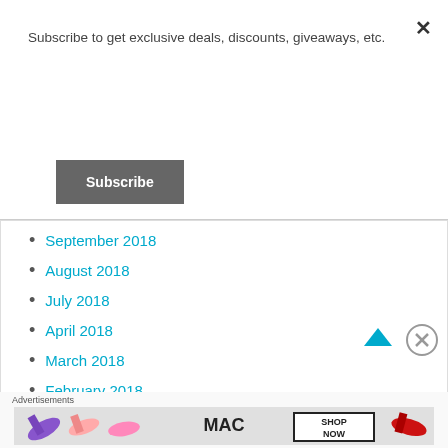Subscribe to get exclusive deals, discounts, giveaways, etc.
Subscribe
September 2018
August 2018
July 2018
April 2018
March 2018
February 2018
January 2018
Advertisements
[Figure (photo): MAC cosmetics advertisement showing lipsticks with SHOP NOW button]